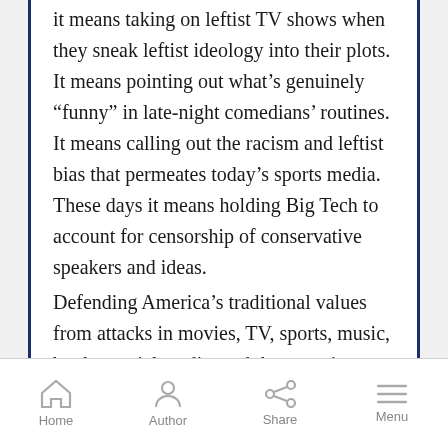it means taking on leftist TV shows when they sneak leftist ideology into their plots. It means pointing out what's genuinely “funny” in late-night comedians’ routines. It means calling out the racism and leftist bias that permeates today’s sports media. These days it means holding Big Tech to account for censorship of conservative speakers and ideas.

Defending America’s traditional values from attacks in movies, TV, sports, music, books, social media, and the news is a full-time job. We are part of the only organization dedicated to this critical mission, and we need your help.
Home | Author | Share | Menu